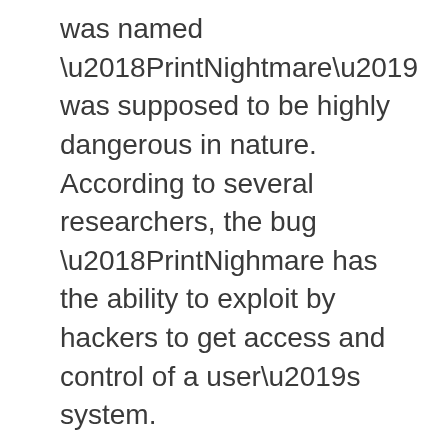was named ‘PrintNightmare’ was supposed to be highly dangerous in nature. According to several researchers, the bug ‘PrintNighmare has the ability to exploit by hackers to get access and control of a user’s system.
The company has ranked the bug as severe as the big has the ability to execute code on impacted devices. However, currently announcing a fix, Microsoft has pushed users to install the updates instantly.